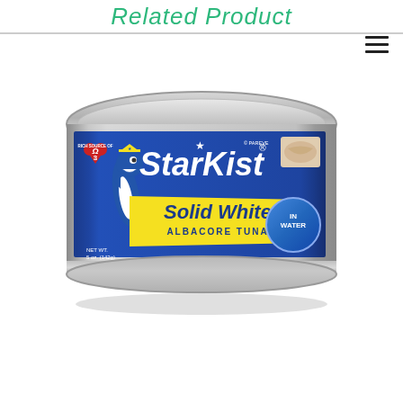Related Product
[Figure (photo): StarKist Solid White Albacore Tuna in Water canned product, showing the can with blue and yellow label featuring the StarKist tuna mascot, Omega-3 heart badge, and 'IN WATER' badge]